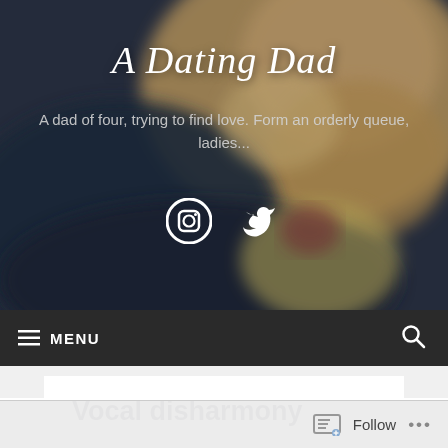[Figure (photo): Blurred close-up photo of a smiling man used as blog header background]
A Dating Dad
A dad of four, trying to find love. Form an orderly queue, ladies...
[Figure (illustration): Social media icons: Instagram and Twitter]
MENU
Vocal disharmony
Follow